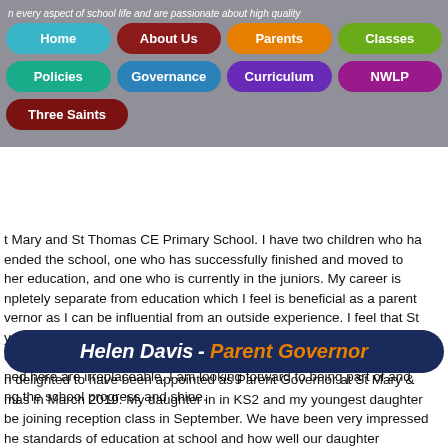[Figure (screenshot): School website navigation menu overlay with coloured pill-shaped buttons: Home (blue), About Us (dark red), Parents (orange), Classes (green), Policies (teal), Governance (steel blue), Curriculum (purple), NWLP (magenta), Three Saints (dark red)]
t Mary and St Thomas CE Primary School. I have two children who ha ended the school, one who has successfully finished and moved to her education, and one who is currently in the juniors. My career is npletely separate from education which I feel is beneficial as a parent vernor as I can be influential from an outside experience. I feel that St y and St Thomas has certainly been a successful school for both cational and life lessons for children and the values my children have ned here are irreplaceable. I am looking forward to being part of and ng the school progress and shine.
Helen Davis - Parent Governor
n delighted to have been appointed as Parent Governor at St Mary & mas in March 2019. My daughter in in KS2 and my youngest daughter be joining reception class in September. We have been very impressed he standards of education at school and how well our daughter grated and has flourished since starting Mid way in year 1.